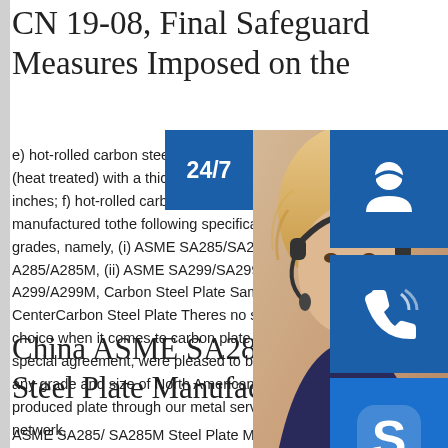CN 19-08, Final Safeguard Measures Imposed on the
e) hot-rolled carbon steel plate in grade ASME SA516 Grade 70 or ASTM A516 Grade 70, (heat treated) with a thickness greater than inches; f) hot-rolled carbon steel plate manufactured tothe following specifications, grades, namely, (i) ASME SA285/SA285M A285/A285M, (ii) ASME SA299/SA299M or A299/A299M, Carbon Steel Plate Samuel CenterCarbon Steel Plate Theres no short choice when it comes to carbon plate at special agreement, were pleased to be able any grade and size of North American or produced plate through our metal service center network.
China ASME SA285/ SA285M Steel Plate Manufacturers
ASME SA285/ SA285M Steel Plate Manufacturers, Factory, Suppliers From China. We warmly welcome